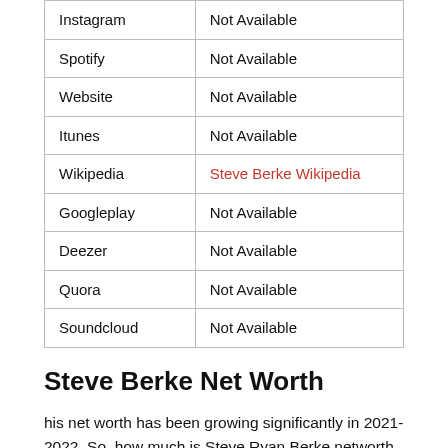| Instagram | Not Available |
| Spotify | Not Available |
| Website | Not Available |
| Itunes | Not Available |
| Wikipedia | Steve Berke Wikipedia |
| Googleplay | Not Available |
| Deezer | Not Available |
| Quora | Not Available |
| Soundcloud | Not Available |
Steve Berke Net Worth
his net worth has been growing significantly in 2021-2022. So, how much is Steve Ryan Berke networth at the age of 40 years old? Steve's income mostly comes from and basic source is being a successful Italian Video blogger. Here we are